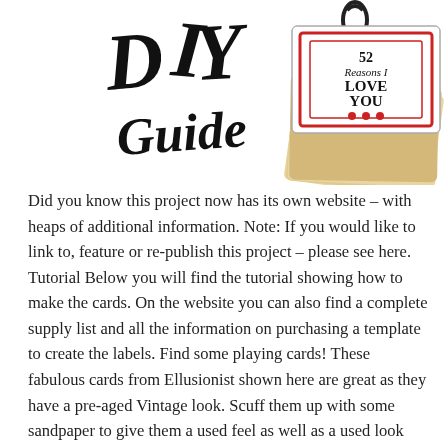[Figure (illustration): DIY Guide handwritten-style title on the left and a stack of playing cards on the right with a label on top reading '52 Reasons I Love You' in red and black text]
Did you know this project now has its own website – with heaps of additional information. Note: If you would like to link to, feature or re-publish this project – please see here. Tutorial Below you will find the tutorial showing how to make the cards. On the website you can also find a complete supply list and all the information on purchasing a template to create the labels. Find some playing cards! These fabulous cards from Ellusionist shown here are great as they have a pre-aged Vintage look. Scuff them up with some sandpaper to give them a used feel as well as a used look Create a template with one of the spare cards (for example one of the Jokers) Punch two holes in each cards using the template as a guide Create your reasons labels to attach to the cards – detailed information below. Use